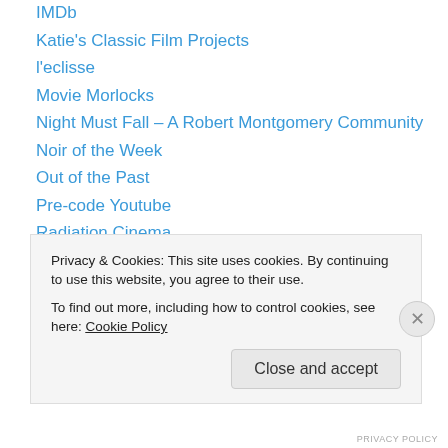IMDb
Katie's Classic Film Projects
l'eclisse
Movie Morlocks
Night Must Fall – A Robert Montgomery Community
Noir of the Week
Out of the Past
Pre-code Youtube
Radiation Cinema
Rotten Tomatoes
Self Styled Siren
Simply Classics
The Crowd Roars
The Life Cinematic
Privacy & Cookies: This site uses cookies. By continuing to use this website, you agree to their use.
To find out more, including how to control cookies, see here: Cookie Policy
Close and accept